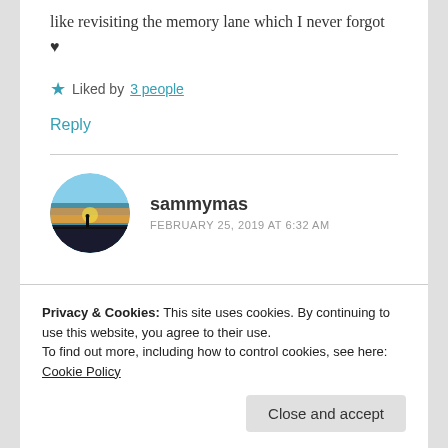like revisiting the memory lane which I never forgot ♥
★ Liked by 3 people
Reply
sammymas
FEBRUARY 25, 2019 AT 6:32 AM
Privacy & Cookies: This site uses cookies. By continuing to use this website, you agree to their use. To find out more, including how to control cookies, see here: Cookie Policy
Close and accept
Reply